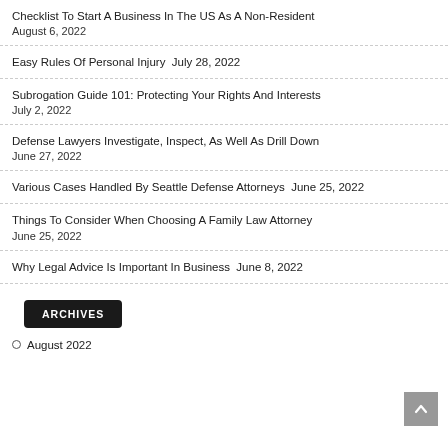Checklist To Start A Business In The US As A Non-Resident August 6, 2022
Easy Rules Of Personal Injury July 28, 2022
Subrogation Guide 101: Protecting Your Rights And Interests July 2, 2022
Defense Lawyers Investigate, Inspect, As Well As Drill Down June 27, 2022
Various Cases Handled By Seattle Defense Attorneys June 25, 2022
Things To Consider When Choosing A Family Law Attorney June 25, 2022
Why Legal Advice Is Important In Business June 8, 2022
ARCHIVES
August 2022